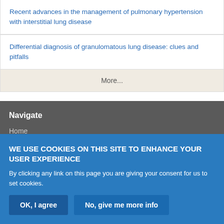Recent advances in the management of pulmonary hypertension with interstitial lung disease
Differential diagnosis of granulomatous lung disease: clues and pitfalls
More...
Navigate
Home
Current issue
WE USE COOKIES ON THIS SITE TO ENHANCE YOUR USER EXPERIENCE
By clicking any link on this page you are giving your consent for us to set cookies.
OK, I agree
No, give me more info